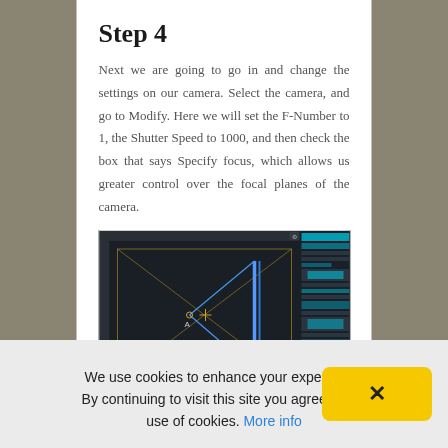Step 4
Next we are going to go in and change the settings on our camera. Select the camera, and go to Modify. Here we will set the F-Number to 1, the Shutter Speed to 1000, and then check the box that says Specify focus, which allows us greater control over the focal planes of the camera.
[Figure (screenshot): A 3D application viewport showing a camera frustum with converging lines from a central point to a vertical plane, with a properties panel on the right side.]
Change the Focus Distance value until the
We use cookies to enhance your experience. By continuing to visit this site you agree to our use of cookies. More info